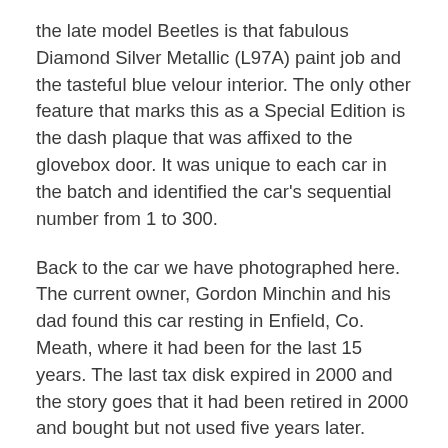the late model Beetles is that fabulous Diamond Silver Metallic (L97A) paint job and the tasteful blue velour interior. The only other feature that marks this as a Special Edition is the dash plaque that was affixed to the glovebox door. It was unique to each car in the batch and identified the car's sequential number from 1 to 300.
Back to the car we have photographed here. The current owner, Gordon Minchin and his dad found this car resting in Enfield, Co. Meath, where it had been for the last 15 years. The last tax disk expired in 2000 and the story goes that it had been retired in 2000 and bought but not used five years later. Through our research at Beetle.ie, we have determined that the car was originally registered in the UK circa February 1978 but in January 1980, less than two years into its career was imported to Ireland, Roscommon to be specific. Hence the original Irish registration number ZDI 455. It was sold to a Sligo based owner in 1987 and lived there until the Co. Meath